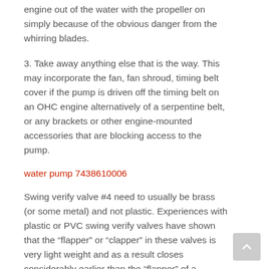engine out of the water with the propeller on simply because of the obvious danger from the whirring blades.
3. Take away anything else that is the way. This may incorporate the fan, fan shroud, timing belt cover if the pump is driven off the timing belt on an OHC engine alternatively of a serpentine belt, or any brackets or other engine-mounted accessories that are blocking access to the pump.
water pump 7438610006
Swing verify valve #4 need to usually be brass (or some metal) and not plastic. Experiences with plastic or PVC swing verify valves have shown that the “flapper” or “clapper” in these valves is very light weight and as a result closes considerably earlier than the “flapper” of a comparable brass swing verify. This in turn would mean lower flow prices and decrease pressure heads.
You want to be certain that the automobile has not